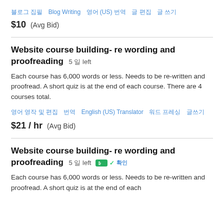블로그 집필  Blog Writing  영어 (US) 번역  글 편집  글 쓰기
$10  (Avg Bid)
Website course building- re wording and proofreading  5 일 left
Each course has 6,000 words or less. Needs to be re-written and proofread. A short quiz is at the end of each course. There are 4 courses total.
영어 영작 및 편집  번역  English (US) Translator  워드 프레싱  글쓰기
$21 / hr  (Avg Bid)
Website course building- re wording and proofreading  5 일 left
Each course has 6,000 words or less. Needs to be re-written and proofread. A short quiz is at the end of each